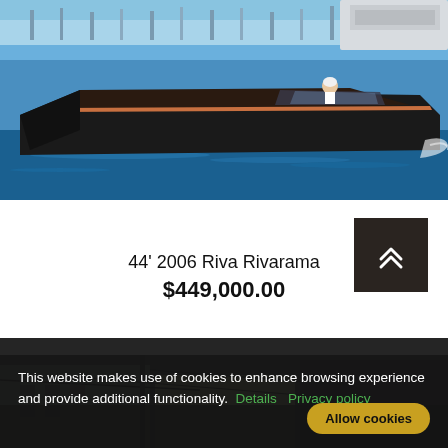[Figure (photo): A sleek dark-hulled luxury speedboat (Riva Rivarama) on blue water with marina in background, person at helm]
44' 2006 Riva Rivarama
$449,000.00
[Figure (photo): Partial view of marina/dock area with buildings, dark and muted colors]
This website makes use of cookies to enhance browsing experience and provide additional functionality. Details Privacy policy Allow cookies